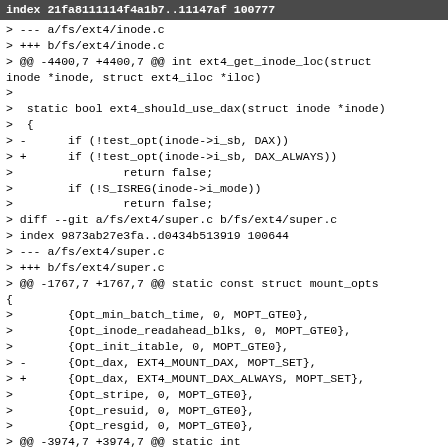index 21fa8111114f4a1b7..11147af 100777
> --- a/fs/ext4/inode.c
> +++ b/fs/ext4/inode.c
> @@ -4400,7 +4400,7 @@ int ext4_get_inode_loc(struct inode *inode, struct ext4_iloc *iloc)
>
>  static bool ext4_should_use_dax(struct inode *inode)
>  {
> -      if (!test_opt(inode->i_sb, DAX))
> +      if (!test_opt(inode->i_sb, DAX_ALWAYS))
>                return false;
>        if (!S_ISREG(inode->i_mode))
>                return false;
> diff --git a/fs/ext4/super.c b/fs/ext4/super.c
> index 9873ab27e3fa..d0434b513919 100644
> --- a/fs/ext4/super.c
> +++ b/fs/ext4/super.c
> @@ -1767,7 +1767,7 @@ static const struct mount_opts {
>        {Opt_min_batch_time, 0, MOPT_GTE0},
>        {Opt_inode_readahead_blks, 0, MOPT_GTE0},
>        {Opt_init_itable, 0, MOPT_GTE0},
> -      {Opt_dax, EXT4_MOUNT_DAX, MOPT_SET},
> +      {Opt_dax, EXT4_MOUNT_DAX_ALWAYS, MOPT_SET},
>        {Opt_stripe, 0, MOPT_GTE0},
>        {Opt_resuid, 0, MOPT_GTE0},
>        {Opt_resgid, 0, MOPT_GTE0},
> @@ -3974,7 +3974,7 @@ static int
ext4_fill_super(struct super_block *sb, void *data, int silent)
>                              "both data=journal and